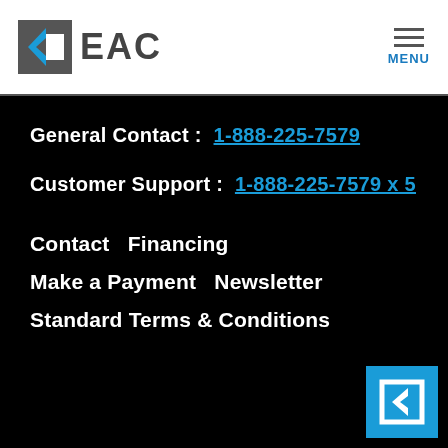[Figure (logo): EAC company logo with stylized blue and grey arrow/chevron icon and bold grey EAC text]
MENU
General Contact :  1-888-225-7579
Customer Support :  1-888-225-7579 x 5
Contact   Financing
Make a Payment   Newsletter
Standard Terms & Conditions
[Figure (logo): EAC small corner logo — white square icon on cyan/blue background]